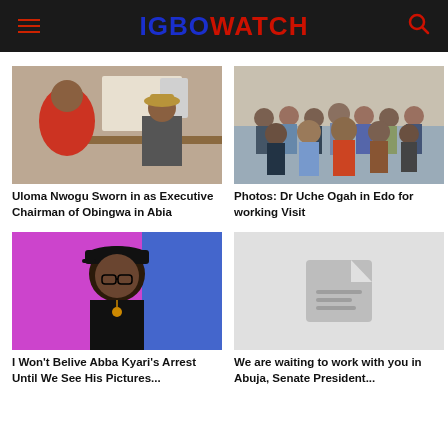IGBOWATCH
[Figure (photo): Woman in red headscarf shaking hands with man across a desk in an office]
[Figure (photo): Group of men in suits and traditional attire posing for a group photo outside a building]
Uloma Nwogu Sworn in as Executive Chairman of Obingwa in Abia
Photos: Dr Uche Ogah in Edo for working Visit
[Figure (photo): Man wearing black outfit and baseball cap turned backwards, with glasses and a necklace, in a studio setting with purple background]
[Figure (photo): Placeholder image with document icon on grey background]
I Won't Belive Abba Kyari's Arrest Until We See His Pictures...
We are waiting to work with you in Abuja, Senate President...